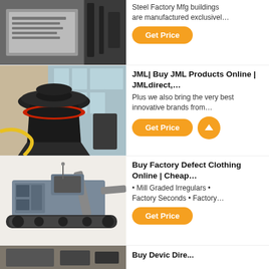[Figure (photo): Industrial steel factory machine placard/sign photo]
Steel Factory Mfg buildings are manufactured exclusivel…
Get Price
[Figure (photo): Industrial cone crusher machine in factory setting]
JML| Buy JML Products Online | JMLdirect,…
Plus we also bring the very best innovative brands from…
Get Price
[Figure (photo): Mobile crusher/industrial tracked machine on white background]
Buy Factory Defect Clothing Online | Cheap…
• Mill Graded Irregulars • Factory Seconds • Factory…
Get Price
[Figure (photo): Partially visible industrial machine at bottom]